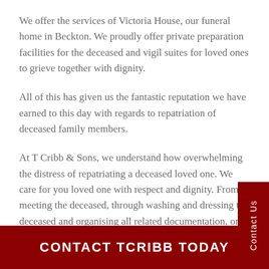We offer the services of Victoria House, our funeral home in Beckton. We proudly offer private preparation facilities for the deceased and vigil suites for loved ones to grieve together with dignity.
All of this has given us the fantastic reputation we have earned to this day with regards to repatriation of deceased family members.
At T Cribb & Sons, we understand how overwhelming the distress of repatriating a deceased loved one. We care for you loved one with respect and dignity. From meeting the deceased, through washing and dressing the deceased and organising all related documentation, onto transportation of the deceased to Chad, our repatriation experts always ensure that we meet your expectations at every step. We care for your loved one, as we would our own, until they reach their final place of rest in Chad.
CONTACT TCRIBB TODAY